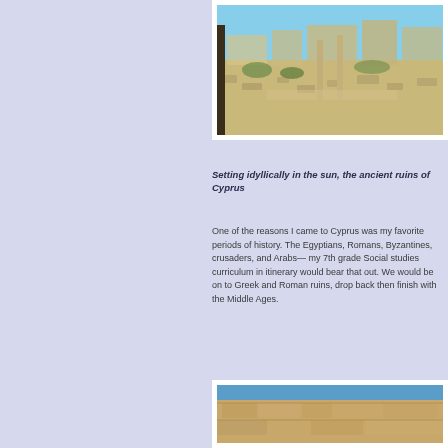[Figure (photo): Ancient ruins of Cyprus under bright sky, with stone columns and scattered stones]
Setting idyllically in the sun, the ancient ruins of Cyprus
One of the reasons I came to Cyprus was my favorite periods of history. The Egyptians, Romans, Byzantines, crusaders, and Arabs—my 7th grade Social studies curriculum in itinerary would bear that out. We would be on to Greek and Roman ruins, drop back then finish with the Middle Ages.
[Figure (photo): Stone ruins or fortification wall detail against blue sky]